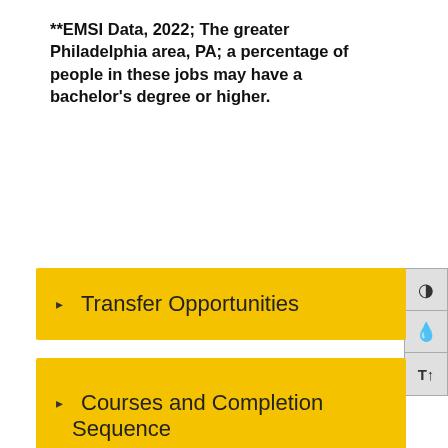**EMSI Data, 2022; The greater Philadelphia area, PA; a percentage of people in these jobs may have a bachelor's degree or higher.
Transfer Opportunities
Videos & Multimedia
Courses and Completion Sequence